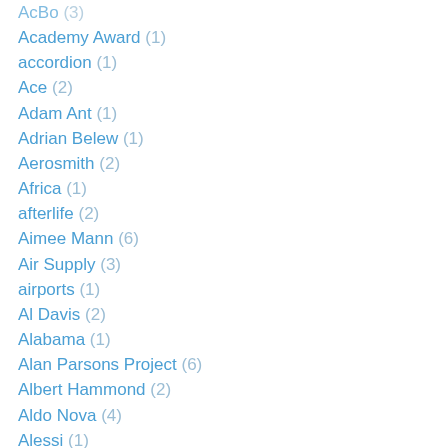AcBo (3)
Academy Award (1)
accordion (1)
Ace (2)
Adam Ant (1)
Adrian Belew (1)
Aerosmith (2)
Africa (1)
afterlife (2)
Aimee Mann (6)
Air Supply (3)
airports (1)
Al Davis (2)
Alabama (1)
Alan Parsons Project (6)
Albert Hammond (2)
Aldo Nova (4)
Alessi (1)
Ali Thomson (1)
Alice Cooper (6)